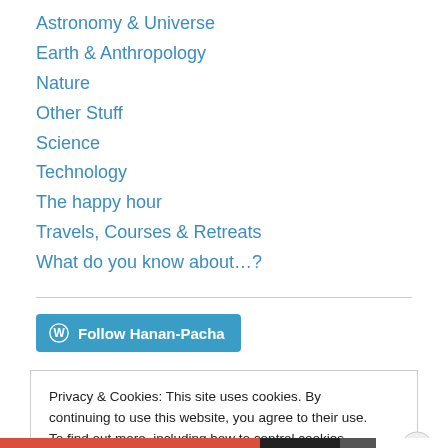Astronomy & Universe
Earth & Anthropology
Nature
Other Stuff
Science
Technology
The happy hour
Travels, Courses & Retreats
What do you know about…?
[Figure (other): Follow Hanan-Pacha button with WordPress icon]
Privacy & Cookies: This site uses cookies. By continuing to use this website, you agree to their use.
To find out more, including how to control cookies, see here: Cookie Policy